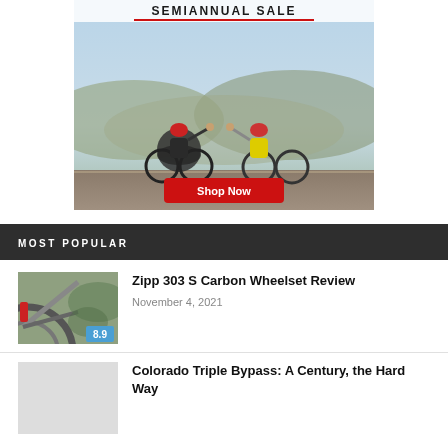[Figure (photo): Advertisement banner showing two cyclists on a road fist-bumping, with text SEMIANNUAL SALE and a red Shop Now button]
MOST POPULAR
[Figure (photo): Thumbnail photo of a bicycle wheel/frame close-up with a rating badge showing 8.9]
Zipp 303 S Carbon Wheelset Review
November 4, 2021
Colorado Triple Bypass: A Century, the Hard Way